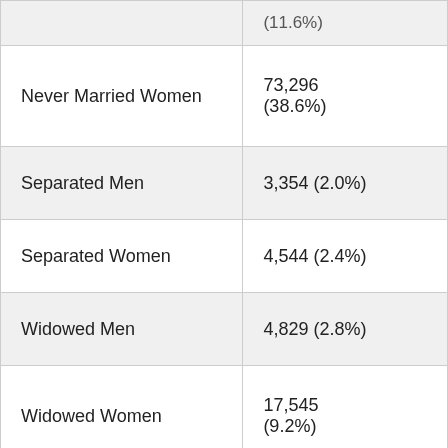| Category | Count (%) |
| --- | --- |
| Never Married Women | 73,296 (38.6%) |
| Separated Men | 3,354 (2.0%) |
| Separated Women | 4,544 (2.4%) |
| Widowed Men | 4,829 (2.8%) |
| Widowed Women | 17,545 (9.2%) |
| Divorced Men | 16,334 (9.6%) |
| Divorced Women | 24,987 (13.1%) |